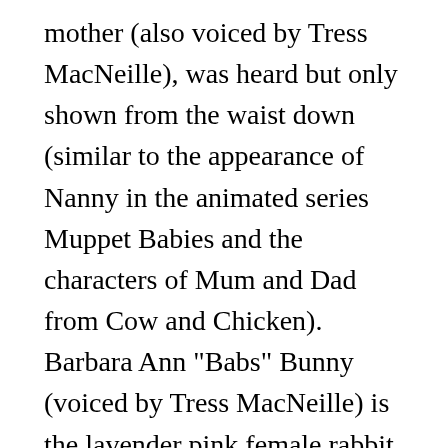mother (also voiced by Tress MacNeille), was heard but only shown from the waist down (similar to the appearance of Nanny in the animated series Muppet Babies and the characters of Mum and Dad from Cow and Chicken). Barbara Ann "Babs" Bunny (voiced by Tress MacNeille) is the lavender pink female rabbit. Babs has been shown many times to have a crush on Buster; sometimes Buster will nervously retreat from her advances, sometimes he returns her affection, and sometimes he even goes out of his way to impress her. She has a father (also seen only from the waist down), who appeared in one episode as a monstrously large fellow who